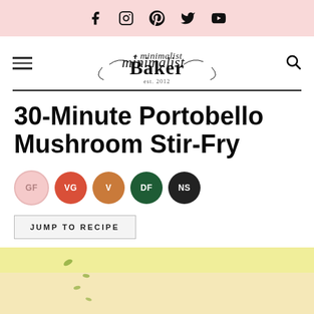Social icons: Facebook, Instagram, Pinterest, Twitter, YouTube
[Figure (logo): Minimalist Baker logo with script font and decorative flourishes, est. 2012]
30-Minute Portobello Mushroom Stir-Fry
GF VG V DF NS diet badges
JUMP TO RECIPE
[Figure (photo): Partial food photo with yellow background showing sesame seeds or garnish]